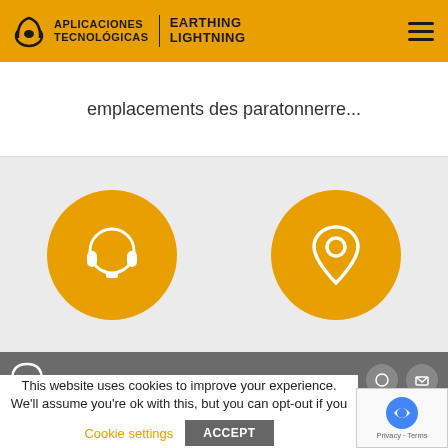[Figure (logo): Aplicaciones Tecnológicas Earthing Lightning logo with header navigation bar on orange background]
emplacements des paratonnerre...
[Figure (illustration): Two orange circular icons on grey background: left icon shows a headset/support symbol, right icon shows a map pin/location symbol]
[Figure (illustration): Website footer dark grey band with partial logo and social media icons]
This website uses cookies to improve your experience. We'll assume you're ok with this, but you can opt-out if you
Cookie settings
ACCEPT